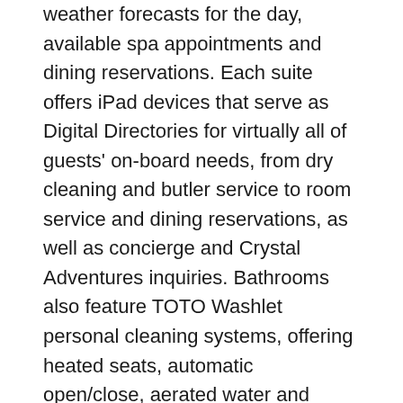weather forecasts for the day, available spa appointments and dining reservations. Each suite offers iPad devices that serve as Digital Directories for virtually all of guests' on-board needs, from dry cleaning and butler service to room service and dining reservations, as well as concierge and Crystal Adventures inquiries. Bathrooms also feature TOTO Washlet personal cleaning systems, offering heated seats, automatic open/close, aerated water and warm air dryer.
As Crystal continues forward with its brand and fleet expansion, Crystal River Cruises prepares to welcome the next member of its family. Crystal Bach – the first of the all-suite,